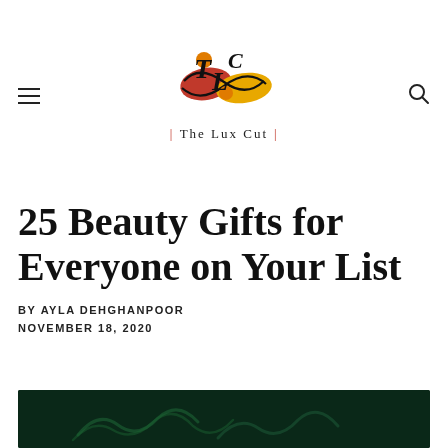[Figure (logo): The Lux Cut website logo with decorative TLC monogram and infinity-style graphic in red, orange, and yellow, with bracketed text below reading '[ The Lux Cut ]']
25 Beauty Gifts for Everyone on Your List
BY AYLA DEHGHANPOOR
NOVEMBER 18, 2020
[Figure (photo): Dark green atmospheric image with swirling smoke or mist patterns on a dark background]